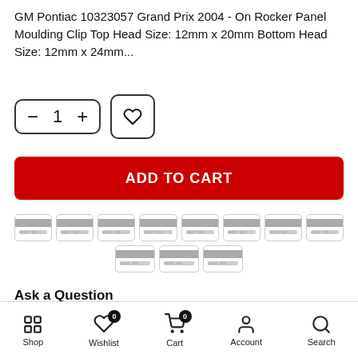GM Pontiac 10323057 Grand Prix 2004 - On Rocker Panel Moulding Clip Top Head Size: 12mm x 20mm Bottom Head Size: 12mm x 24mm...
[Figure (screenshot): Quantity selector with minus, 1, plus buttons and a wishlist heart button]
[Figure (screenshot): Red ADD TO CART button]
[Figure (infographic): Grid of 11 payment method card icons (credit card placeholders)]
Ask a Question
Shop | Wishlist (0) | Cart (0) | Account | Search